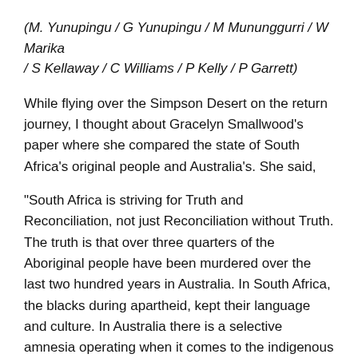(M. Yunupingu / G Yunupingu / M Mununggurri / W Marika / S Kellaway / C Williams / P Kelly / P Garrett)
While flying over the Simpson Desert on the return journey, I thought about Gracelyn Smallwood’s paper where she compared the state of South Africa’s original people and Australia’s. She said,
“South Africa is striving for Truth and Reconciliation, not just Reconciliation without Truth. The truth is that over three quarters of the Aboriginal people have been murdered over the last two hundred years in Australia. In South Africa, the blacks during apartheid, kept their language and culture. In Australia there is a selective amnesia operating when it comes to the indigenous people. We need both Truth and Reconciliation.”